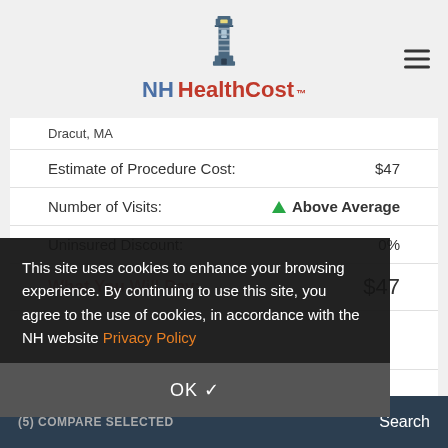NH HealthCost
Dracut, MA
| Field | Value |
| --- | --- |
| Estimate of Procedure Cost: | $47 |
| Number of Visits: | Above Average |
| Uninsured Discount: | 0% |
| What You Will Pay: | $47 |
Concord, NH
This site uses cookies to enhance your browsing experience. By continuing to use this site, you agree to the use of cookies, in accordance with the NH website Privacy Policy
OK ✓
(5) COMPARE SELECTED   Search